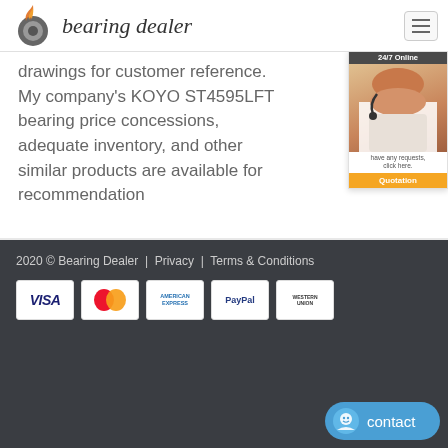bearing dealer
drawings for customer reference. My company's KOYO ST4595LFT bearing price concessions, adequate inventory, and other similar products are available for recommendation
[Figure (photo): 24/7 Online chat support agent — woman with headset. Button text: 'have any requests, click here.' and 'Quotation']
2020 © Bearing Dealer  |  Privacy  |  Terms & Conditions
[Figure (logo): Payment method logos: VISA, MasterCard, American Express, PayPal, Western Union]
[Figure (illustration): Contact button with smiley icon and text 'contact']